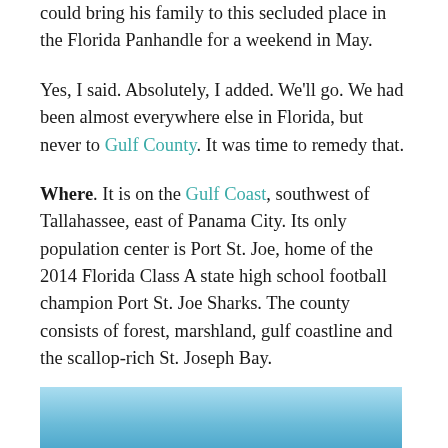could bring his family to this secluded place in the Florida Panhandle for a weekend in May.
Yes, I said. Absolutely, I added. We'll go. We had been almost everywhere else in Florida, but never to Gulf County. It was time to remedy that.
Where. It is on the Gulf Coast, southwest of Tallahassee, east of Panama City. Its only population center is Port St. Joe, home of the 2014 Florida Class A state high school football champion Port St. Joe Sharks. The county consists of forest, marshland, gulf coastline and the scallop-rich St. Joseph Bay.
[Figure (photo): Partial view of a blue water/sky scene, cropped at bottom of page]